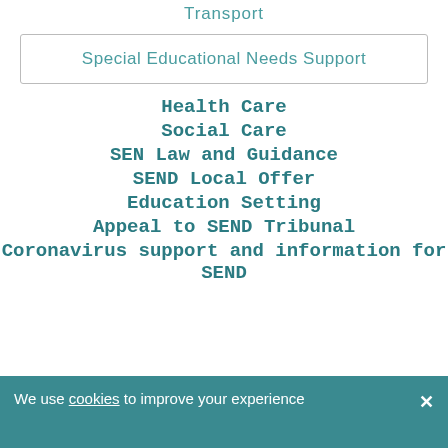Transport
Special Educational Needs Support
Health Care
Social Care
SEN Law and Guidance
SEND Local Offer
Education Setting
Appeal to SEND Tribunal
Coronavirus support and information for SEND
We use cookies to improve your experience